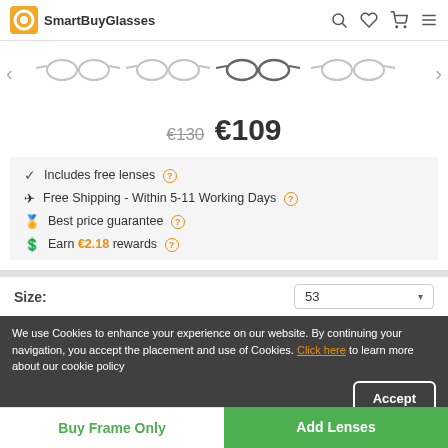SmartBuyGlasses
[Figure (photo): Horizontal scrollable strip of eyeglass frames shown in multiple styles against white background, with left and right navigation arrows]
€130 €109
Includes free lenses
Free Shipping - Within 5-11 Working Days
Best price guarantee
Earn €2.18 rewards
Size: 53
We use Cookies to enhance your experience on our website. By continuing your navigation, you accept the placement and use of Cookies. Click here to learn more about our cookie policy
Technical Details
Buy Frame Only
Add Lenses